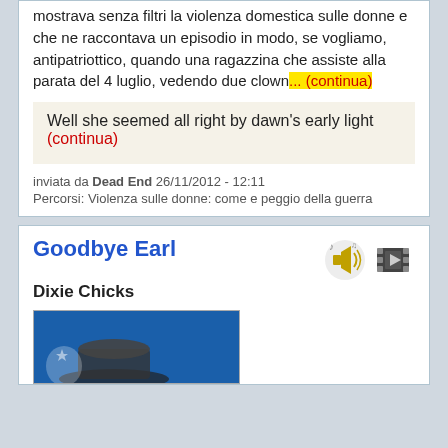mostrava senza filtri la violenza domestica sulle donne e che ne raccontava un episodio in modo, se vogliamo, antipatriottico, quando una ragazzina che assiste alla parata del 4 luglio, vedendo due clown... (continua)
Well she seemed all right by dawn's early light
(continua)
inviata da Dead End 26/11/2012 - 12:11
Percorsi: Violenza sulle donne: come e peggio della guerra
Goodbye Earl
Dixie Chicks
[Figure (illustration): Album cover showing blue background with hat/figure, partially visible at bottom of card]